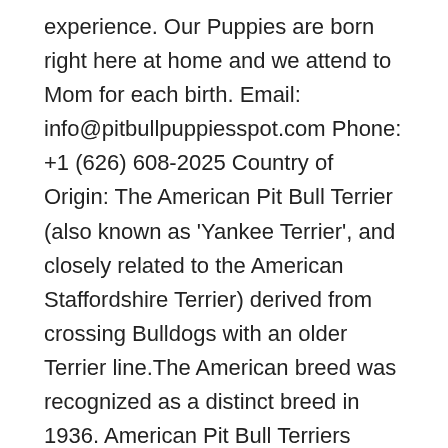experience. Our Puppies are born right here at home and we attend to Mom for each birth. Email: info@pitbullpuppiesspot.com Phone: +1 (626) 608-2025 Country of Origin: The American Pit Bull Terrier (also known as 'Yankee Terrier', and closely related to the American Staffordshire Terrier) derived from crossing Bulldogs with an older Terrier line.The American breed was recognized as a distinct breed in 1936. American Pit Bull Terriers became popular with ranchers and farmers for protection, companionship, and catching hogs and cattle. Our XXL Pitbull puppies for sale are the best pitbull puppies available in the world. We feel proud to set the bar for other kennels. We are top class breeders dedicated to producing the best pitbull puppies on earth. ManMade Kennels offers a huge variety of healthy and